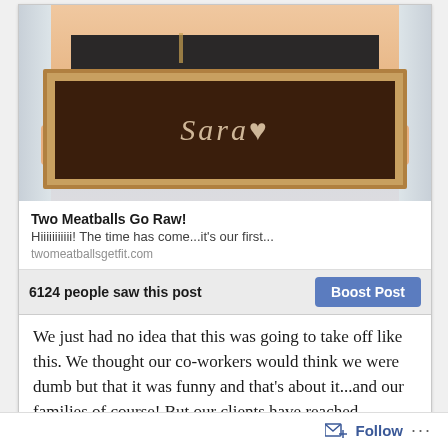[Figure (screenshot): Screenshot of a Facebook post from 'Two Meatballs Go Raw!' showing a woman holding a chalkboard sign with 'Sara' written on it, a link preview card, a reach count of 6124 people, a Boost Post button, and body text.]
Two Meatballs Go Raw!
Hiiiiiiiiiii! The time has come...it's our first...
twomeatballsgetfit.com
6124 people saw this post
We just had no idea that this was going to take off like this. We thought our co-workers would think we were dumb but that it was funny and that’s about it...and our families of course! But our clients have reached out...even bringing in swag bags of healthy snacks!
Follow ...